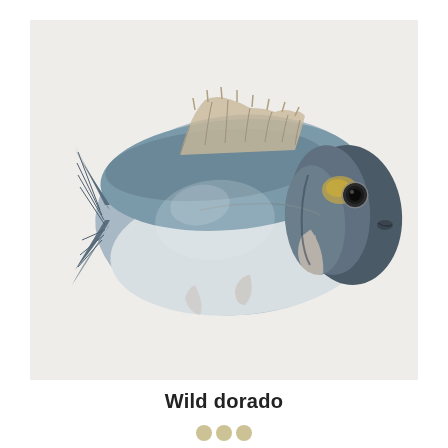[Figure (photo): A wild dorado (sea bream) fish photographed on a light grey background, shown in profile view facing right. The fish has silvery-blue scales on the back, lighter underside, spiny dorsal fin, and a dark head with a golden marking between the eyes.]
Wild dorado